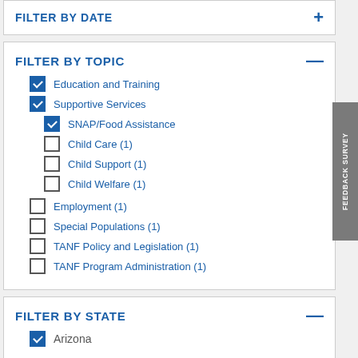FILTER BY DATE
FILTER BY TOPIC
Education and Training (checked)
Supportive Services (checked)
SNAP/Food Assistance (checked)
Child Care (1)
Child Support (1)
Child Welfare (1)
Employment (1)
Special Populations (1)
TANF Policy and Legislation (1)
TANF Program Administration (1)
FILTER BY STATE
Arizona (checked)